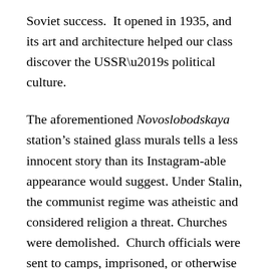Soviet success. It opened in 1935, and its art and architecture helped our class discover the USSR’s political culture.
The aforementioned Novoslobodskaya station’s stained glass murals tells a less innocent story than its Instagram-able appearance would suggest. Under Stalin, the communist regime was atheistic and considered religion a threat. Churches were demolished. Church officials were sent to camps, imprisoned, or otherwise persecuted. Novoslobodskaya station’s design was an attempt to secularize stained glass.